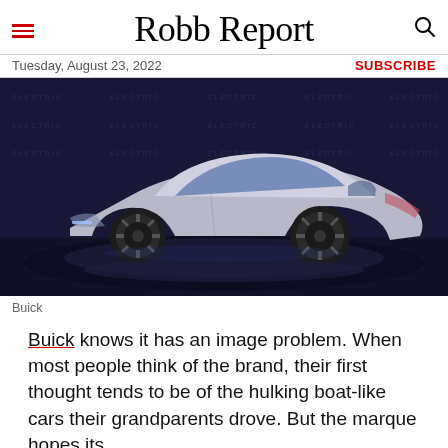Robb Report
Tuesday, August 23, 2022 | SUBSCRIBE
[Figure (photo): Silver Buick electric concept car on a circular display platform in front of a branded backdrop with Buick and 'Electric' logos]
Buick
Buick knows it has an image problem. When most people think of the brand, their first thought tends to be of the hulking boat-like cars their grandparents drove. But the marque hopes its